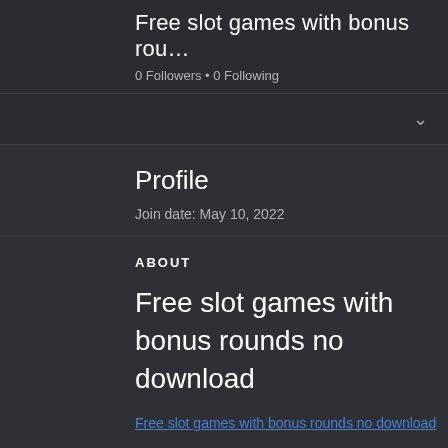Free slot games with bonus rou…
0 Followers • 0 Following
Profile
Join date: May 10, 2022
ABOUT
Free slot games with bonus rounds no download
Free slot games with bonus rounds no download